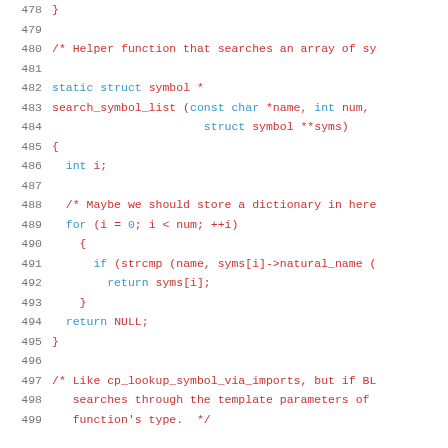Source code listing, lines 478-499, C code for search_symbol_list function